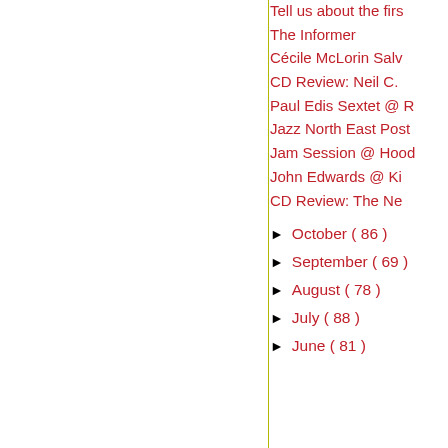Tell us about the firs
The Informer
Cécile McLorin Salv
CD Review: Neil C.
Paul Edis Sextet @ R
Jazz North East Post
Jam Session @ Hood
John Edwards @ Ki
CD Review: The Ne
► October ( 86 )
► September ( 69 )
► August ( 78 )
► July ( 88 )
► June ( 81 )